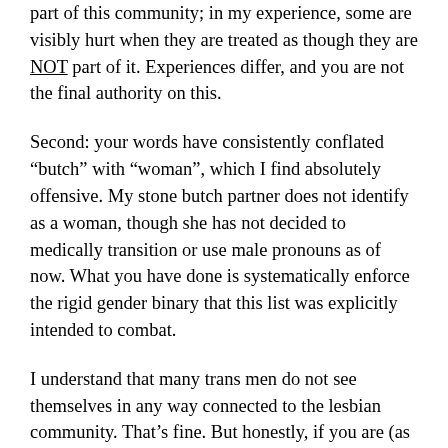part of this community; in my experience, some are visibly hurt when they are treated as though they are NOT part of it. Experiences differ, and you are not the final authority on this.
Second: your words have consistently conflated “butch” with “woman”, which I find absolutely offensive. My stone butch partner does not identify as a woman, though she has not decided to medically transition or use male pronouns as of now. What you have done is systematically enforce the rigid gender binary that this list was explicitly intended to combat.
I understand that many trans men do not see themselves in any way connected to the lesbian community. That’s fine. But honestly, if you are (as you stated) a “real man”, then what’s your problem? Many trans men reject the label trans and go about their daily lives as men, pure and simple. Those men don’t have anything to do with this list. Only trans men who are open about their queerness and previous life as